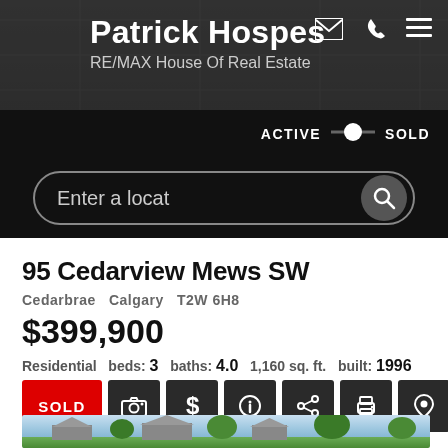Patrick Hospes
RE/MAX House Of Real Estate
ACTIVE  SOLD
Enter a locat
95 Cedarview Mews SW
Cedarbrae  Calgary  T2W 6H8
$399,900
Residential  beds: 3  baths: 4.0  1,160 sq. ft.  built: 1996
SOLD
Details  Photos  Videos  Map
[Figure (photo): Exterior photo of house at 95 Cedarview Mews SW with trees and sky visible]